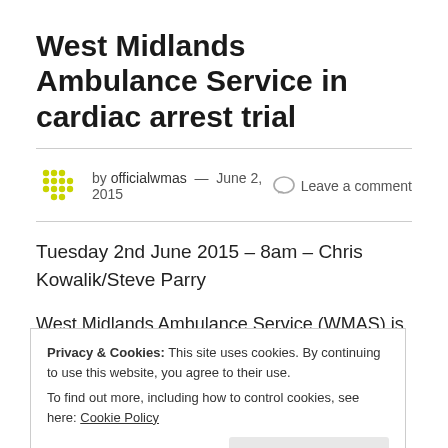West Midlands Ambulance Service in cardiac arrest trial
by officialwmas — June 2, 2015   Leave a comment
Tuesday 2nd June 2015 – 8am – Chris Kowalik/Steve Parry
West Midlands Ambulance Service (WMAS) is to take
Privacy & Cookies: This site uses cookies. By continuing to use this website, you agree to their use.
To find out more, including how to control cookies, see here: Cookie Policy
Close and accept